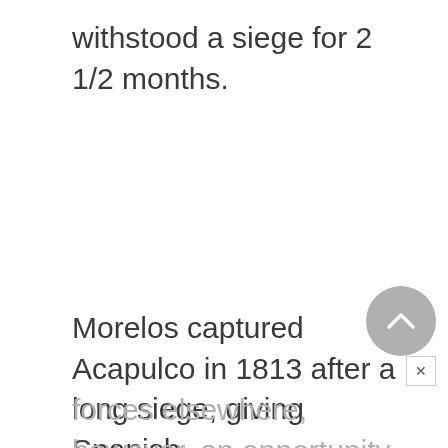withstood a siege for 2 1/2 months.
Morelos captured Acapulco in 1813 after a long siege, giving Spanish
forces elsewhere, however, an opportunity to reorganize and seize